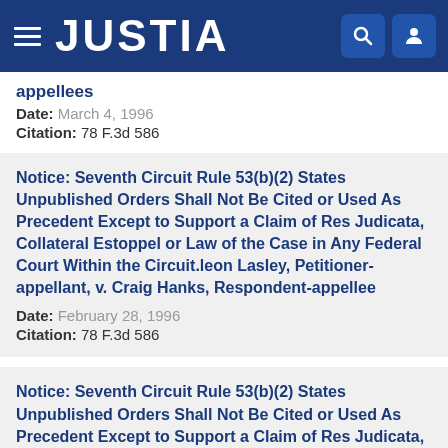JUSTIA
appellees
Date: March 4, 1996
Citation: 78 F.3d 586
Notice: Seventh Circuit Rule 53(b)(2) States Unpublished Orders Shall Not Be Cited or Used As Precedent Except to Support a Claim of Res Judicata, Collateral Estoppel or Law of the Case in Any Federal Court Within the Circuit.leon Lasley, Petitioner-appellant, v. Craig Hanks, Respondent-appellee
Date: February 28, 1996
Citation: 78 F.3d 586
Notice: Seventh Circuit Rule 53(b)(2) States Unpublished Orders Shall Not Be Cited or Used As Precedent Except to Support a Claim of Res Judicata,